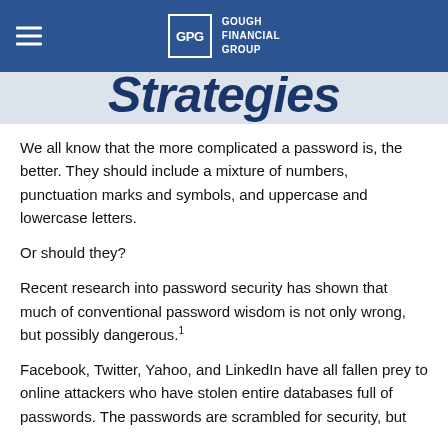GOUGH FINANCIAL GROUP
Strategies
We all know that the more complicated a password is, the better. They should include a mixture of numbers, punctuation marks and symbols, and uppercase and lowercase letters.
Or should they?
Recent research into password security has shown that much of conventional password wisdom is not only wrong, but possibly dangerous.¹
Facebook, Twitter, Yahoo, and LinkedIn have all fallen prey to online attackers who have stolen entire databases full of passwords. The passwords are scrambled for security, but they offer little protection when...